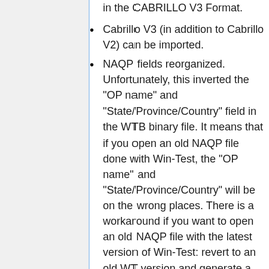in the CABRILLO V3 Format.
Cabrillo V3 (in addition to Cabrillo V2) can be imported.
NAQP fields reorganized. Unfortunately, this inverted the "OP name" and "State/Province/Country" field in the WTB binary file. It means that if you open an old NAQP file done with Win-Test, the "OP name" and "State/Province/Country" will be on the wrong places. There is a workaround if you want to open an old NAQP file with the latest version of Win-Test: revert to an old WT version and generate a Cabrillo file from it. Then install again the latest Win-Test version, and import the generated Cabrillo. My apologies for these troubles but it was making sense to invert these fields in order